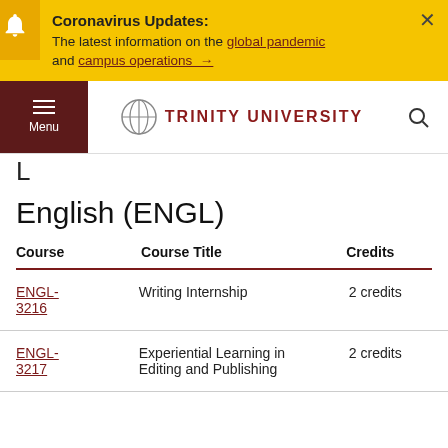Coronavirus Updates: The latest information on the global pandemic and campus operations →
TRINITY UNIVERSITY
L
English (ENGL)
| Course | Course Title | Credits |
| --- | --- | --- |
| ENGL-3216 | Writing Internship | 2 credits |
| ENGL-3217 | Experiential Learning in Editing and Publishing | 2 credits |